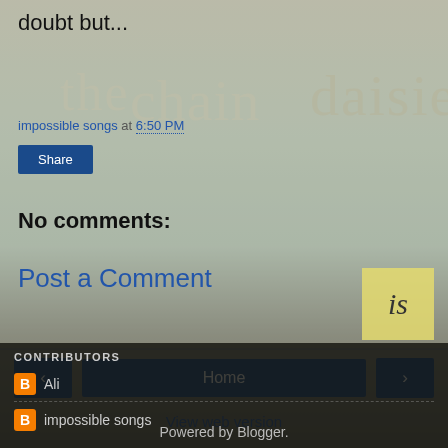doubt but...
impossible songs at 6:50 PM
Share
No comments:
Post a Comment
Home
View web version
CONTRIBUTORS
Ali
impossible songs
Powered by Blogger.